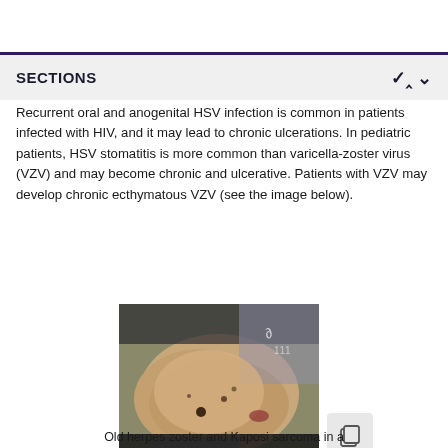SECTIONS
Recurrent oral and anogenital HSV infection is common in patients infected with HIV, and it may lead to chronic ulcerations. In pediatric patients, HSV stomatitis is more common than varicella-zoster virus (VZV) and may become chronic and ulcerative. Patients with VZV may develop chronic ecthymatous VZV (see the image below).
[Figure (photo): Clinical photograph showing old herpes zoster and Kaposi sarcoma skin lesions on a patient's torso]
Old herpes zoster and Kaposi sarcoma in a